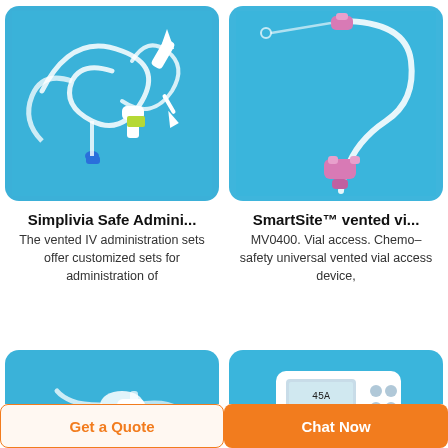[Figure (photo): IV administration set with tubing, connectors, and needle on blue background]
[Figure (photo): SmartSite vented vial access device with pink connectors and clear tubing on blue background]
Simplivia Safe Admini...
The vented IV administration sets offer customized sets for administration of
SmartSite™ vented vi...
MV0400. Vial access. Chemo–safety universal vented vial access device,
[Figure (photo): Medical device connector on blue background (bottom left)]
[Figure (photo): Electronic medical device with digital display on blue background (bottom right)]